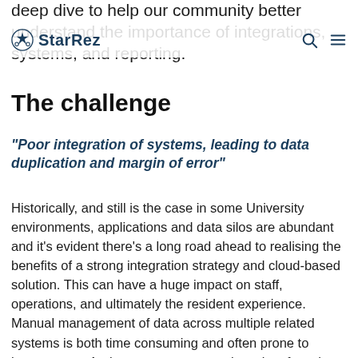deep dive to help our community better understand the importance of integrations, systems, and reporting.
StarRez (logo navigation bar with search and menu icons)
The challenge
"Poor integration of systems, leading to data duplication and margin of error"
Historically, and still is the case in some University environments, applications and data silos are abundant and it's evident there's a long road ahead to realising the benefits of a strong integration strategy and cloud-based solution. This can have a huge impact on staff, operations, and ultimately the resident experience. Manual management of data across multiple related systems is both time consuming and often prone to human error. And more errors means less time focusing on delivering superior customer service...